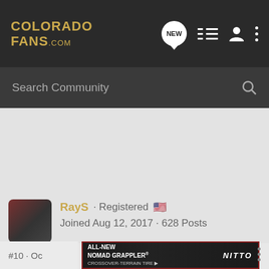COLORADO FANS .com
Search Community
[Figure (screenshot): Gray empty content area]
RayS · Registered 🇺🇸
Joined Aug 12, 2017 · 628 Posts
#10 · Oc...
[Figure (other): Nitto advertisement banner: ALL-NEW NOMAD GRAPPLER CROSSOVER-TERRAIN TIRE]